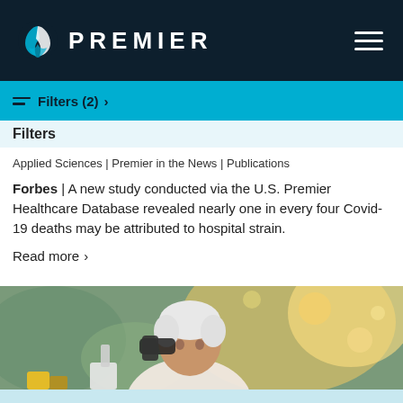[Figure (logo): Premier Inc. logo with triangular icon and wordmark PREMIER on dark navy background]
Filters (2) >
Filters
Applied Sciences | Premier in the News | Publications
Forbes | A new study conducted via the U.S. Premier Healthcare Database revealed nearly one in every four Covid-19 deaths may be attributed to hospital strain.
Read more >
[Figure (photo): Senior woman scientist with short white hair wearing a white lab coat, looking through a microscope in a laboratory setting with warm bokeh lighting in the background]